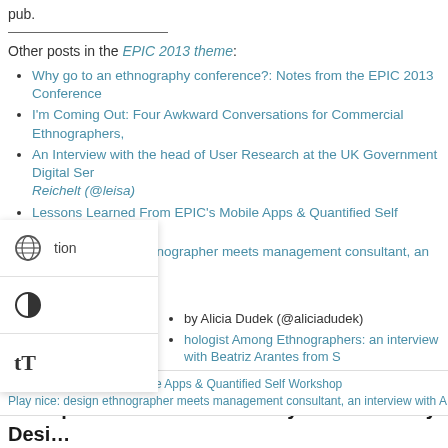pub.
Other posts in the EPIC 2013 theme:
Why go to an ethnography conference?: Notes from the EPIC 2013 Conference
I'm Coming Out: Four Awkward Conversations for Commercial Ethnographers,
An Interview with the head of User Research at the UK Government Digital Ser... Reichelt (@leisa)
Lessons Learned From EPIC's Mobile Apps & Quantified Self Workshop, by Mi
Play nice: design ethnographer meets management consultant, an interview wi... Digital, by Alicia Dudek (@aliciadudek)
hologist Among Ethnographers: an interview with Beatriz Arantes from S... riz_wsf)
Learned From EPIC's Mobile Apps & Quantified Self Workshop
Play nice: design ethnographer meets management consultant, an interview with A.
2 Responses to “What We Buy When We Buy Desi… Bridging “The Great Divide” between Client and A… Teams”